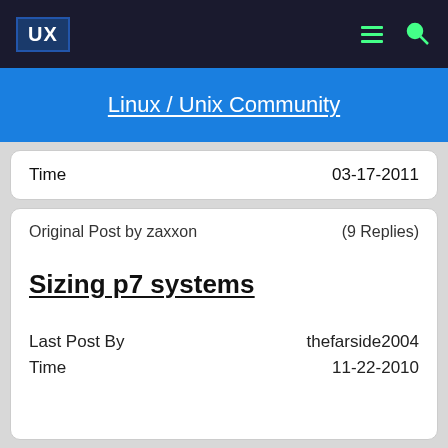UX  [menu icon] [search icon]
Linux / Unix Community
| Field | Value |
| --- | --- |
| Time | 03-17-2011 |
| Field | Value |
| --- | --- |
| Original Post by zaxxon | (9 Replies) |
| Sizing p7 systems |  |
| Last Post By | thefarside2004 |
| Time | 11-22-2010 |